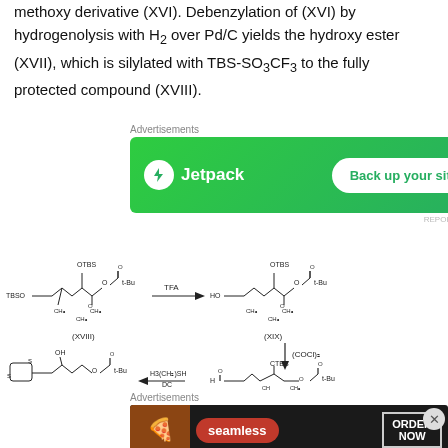methoxy derivative (XVI). Debenzylation of (XVI) by hydrogenolysis with H2 over Pd/C yields the hydroxy ester (XVII), which is silylated with TBS-SO3CF3 to the fully protected compound (XVIII).
[Figure (screenshot): Jetpack advertisement banner: green background with Jetpack logo and 'Back up your site' button]
[Figure (engineering-diagram): Chemical reaction scheme showing multi-step synthesis: compound (XVIII) with OTBS group reacting with TFA to give compound (XIX) with HO group, then (COCl)2, then reaction with H3(CH2)SH (DC) to give another compound. Structures show tert-butyl ester chains with OTBS protecting groups.]
[Figure (screenshot): Seamless food delivery advertisement banner with pizza image, Seamless logo, and ORDER NOW button]